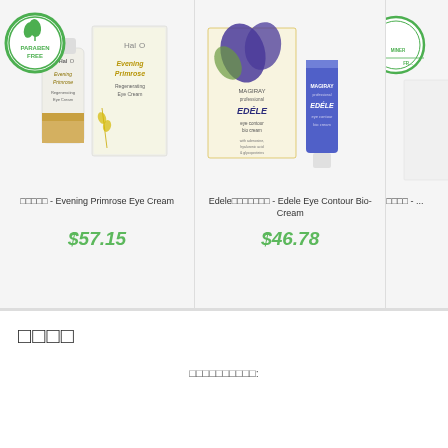[Figure (photo): Halo Evening Primrose Regenerating Eye Cream product with paraben free badge, showing box and bottle]
□□□□□ - Evening Primrose Eye Cream
$57.15
[Figure (photo): Magiray Professional Edele Eye Contour Bio-Cream product showing box and tube]
Edele□□□□□□□ - Edele Eye Contour Bio-Cream
$46.78
[Figure (photo): Partial product image with mineral free badge, cut off at right edge]
□□□□ - ...
□□□□
□□□□□□□□□□: